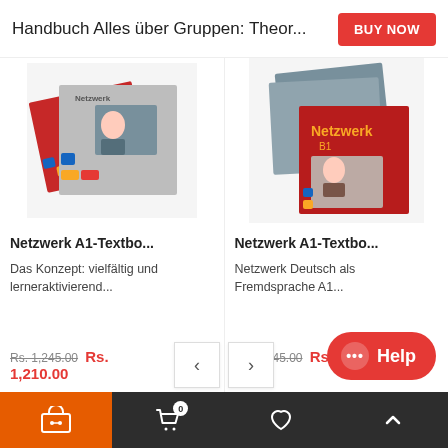Handbuch Alles über Gruppen: Theor...
BUY NOW
[Figure (photo): Stack of red and grey textbooks/workbooks for language learning]
[Figure (photo): Stack of Netzwerk A1 textbooks with yellow Netzwerk logo on grey background and red cover with student photo]
Netzwerk A1-Textbo...
Netzwerk A1-Textbo...
Das Konzept: vielfältig und lerneraktivierend...
Netzwerk Deutsch als Fremdsprache A1...
Rs. 1,245.00 Rs. 1,210.00
Rs. 1,145.00 Rs. 1...
cart | basket 0 | heart | up arrow